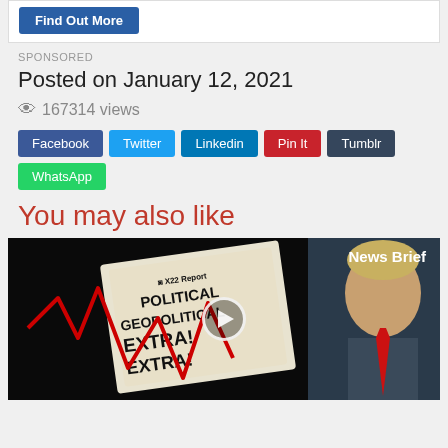[Figure (screenshot): Find Out More button in a white box]
SPONSORED
Posted on January 12, 2021
167314 views
[Figure (infographic): Social share buttons: Facebook, Twitter, Linkedin, Pin It, Tumblr, WhatsApp]
You may also like
[Figure (screenshot): Video thumbnail showing X22 Report newspaper with GEOPOLITICAL EXTRA! headline, red declining graph line, Donald Trump photo, News Brief label, and a play button overlay]